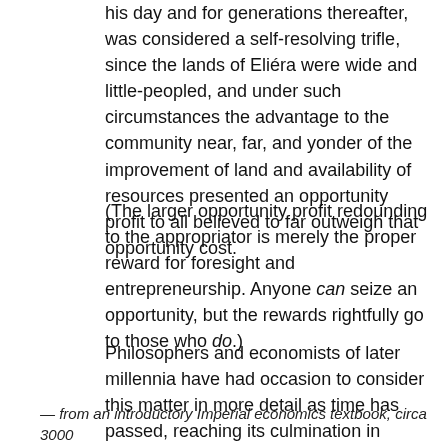his day and for generations thereafter, was considered a self-resolving trifle, since the lands of Eliéra were wide and little-peopled, and under such circumstances the advantage to the community near, far, and yonder of the improvement of land and availability of resources presented an opportunity profit to all believed to far outweigh that opportunity cost.
(The larger opportunity profit redounding to the appropriator is merely the proper reward for foresight and entrepreneurship. Anyone can seize an opportunity, but the rewards rightfully go to those who do.)
Philosophers and economists of later millennia have had occasion to consider this matter in more detail as time has passed, reaching its culmination in Perine Cyprium-ith-Elethandrion's seminal publication On Externality and Incorporation. The original-appropriation and resource-extraction surcharges applied by the Protectorate of Balance, Externality, and the Commons, discussed in the next chapter, are the legacy of his work.
— from an introductory Imperial economics textbook, circa 3000